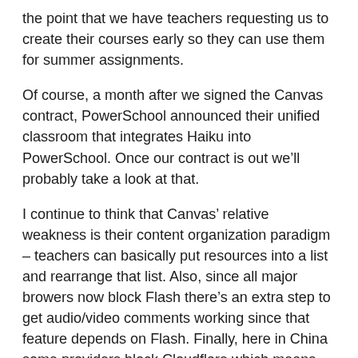the point that we have teachers requesting us to create their courses early so they can use them for summer assignments.
Of course, a month after we signed the Canvas contract, PowerSchool announced their unified classroom that integrates Haiku into PowerSchool. Once our contract is out we’ll probably take a look at that.
I continue to think that Canvas’ relative weakness is their content organization paradigm – teachers can basically put resources into a list and rearrange that list. Also, since all major browers now block Flash there’s an extra step to get audio/video comments working since that feature depends on Flash. Finally, here in China some providers block Cloudflare which means the CSS files used for Canvas won’t load – that won’t be a consideration in Alabama, though.